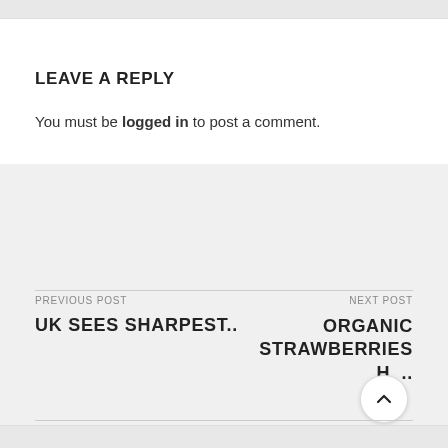LEAVE A REPLY
You must be logged in to post a comment.
PREVIOUS POST
UK SEES SHARPEST..
NEXT POST
ORGANIC STRAWBERRIES H ..